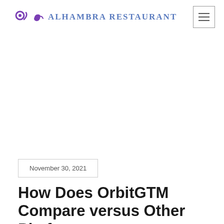ALHAMBRA RESTAURANT
November 30, 2021
How Does OrbitGTM Compare versus Other Platforms